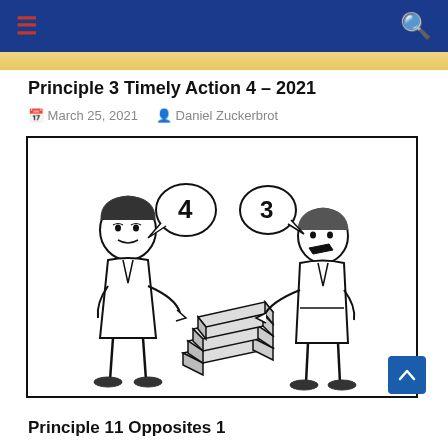Principle 3 Timely Action 4 – 2021
March 25, 2021   Daniel Zuckerbrot
[Figure (illustration): Two cartoon figures facing each other. Left figure has speech bubble with number 4, right figure has speech bubble with number 3. Between them are stacked rectangular logs/planks. Both figures are pointing at the logs.]
Principle 11 Opposites 1